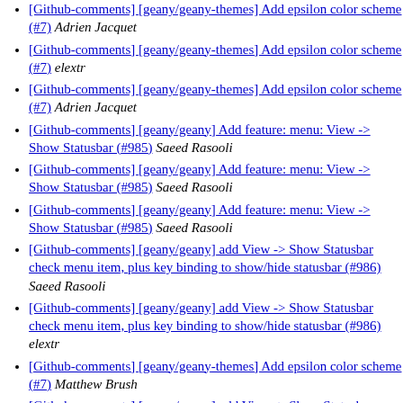[Github-comments] [geany/geany-themes] Add epsilon color scheme (#7)  Adrien Jacquet
[Github-comments] [geany/geany-themes] Add epsilon color scheme (#7)  elextr
[Github-comments] [geany/geany-themes] Add epsilon color scheme (#7)  Adrien Jacquet
[Github-comments] [geany/geany] Add feature: menu: View -> Show Statusbar (#985)  Saeed Rasooli
[Github-comments] [geany/geany] Add feature: menu: View -> Show Statusbar (#985)  Saeed Rasooli
[Github-comments] [geany/geany] Add feature: menu: View -> Show Statusbar (#985)  Saeed Rasooli
[Github-comments] [geany/geany] add View -> Show Statusbar check menu item, plus key binding to show/hide statusbar (#986)  Saeed Rasooli
[Github-comments] [geany/geany] add View -> Show Statusbar check menu item, plus key binding to show/hide statusbar (#986)  elextr
[Github-comments] [geany/geany-themes] Add epsilon color scheme (#7)  Matthew Brush
[Github-comments] [geany/geany] add View -> Show Statusbar check menu item, plus key binding to show/hide statusbar (#986)  Matthew Brush
[Github-comments] [geany/geany-themes] Add epsilon color scheme (#7)  elextr
[Github-comments] [geany/geany-themes] Add epsilon color scheme (#7)